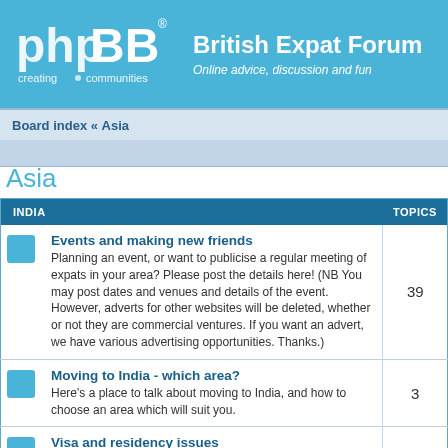[Figure (logo): phpBB logo - creating communities]
British Expat Forum
Online advice, discussion and fun
Board index « Asia
Asia
| INDIA | TOPICS |
| --- | --- |
| Events and making new friends
Planning an event, or want to publicise a regular meeting of expats in your area? Please post the details here! (NB You may post dates and venues and details of the event. However, adverts for other websites will be deleted, whether or not they are commercial ventures. If you want an advert, we have various advertising opportunities. Thanks.) | 39 |
| Moving to India - which area?
Here's a place to talk about moving to India, and how to choose an area which will suit you. | 3 |
| Visa and residency issues
Here's where to post about the bureaucracy attached to obtaining visas and living in India. | 4 |
| Housing/Property
Where to find a place to live. Dealing with estate agents, lawyers, etc? Try here for info. NO ADVERTISING - property wanted or | 22 |